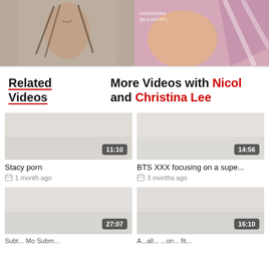[Figure (photo): Two video thumbnails side by side at the top of the page. Left: a woman with braids smiling. Right: a person with an Instagram watermark reading INSTAGRAM @LILAPOP1_.]
Related Videos
More Videos with Nicol and Christina Lee
[Figure (photo): Video thumbnail with duration badge 11:10. Title: Stacy porn. Meta: 1 month ago.]
Stacy porn
1 month ago
[Figure (photo): Video thumbnail with duration badge 14:56. Title: BTS XXX focusing on a supe... Meta: 3 months ago.]
BTS XXX focusing on a supe...
3 months ago
[Figure (photo): Video thumbnail with duration badge 27:07. Title partially visible at bottom.]
[Figure (photo): Video thumbnail with duration badge 16:10. Title partially visible at bottom.]